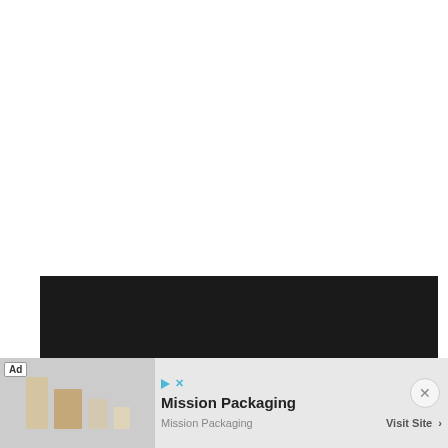TAGS
#ACCESSORIES
#CLOCKS
#FORMOTION
#MOTORCYCLE ACCESSORY & PARTS REVIEWS
#MOTORCYCLE CLOCKS & THERMOMETER REVIEWS
#REVIEW
#THERMOMETER
[Figure (other): Dark banner bar]
[Figure (other): Advertisement banner for Mission Packaging with ad label, product image of cardboard boxes, title 'Mission Packaging', subtitle 'Mission Packaging', and 'Visit Site' button with play and X icons]